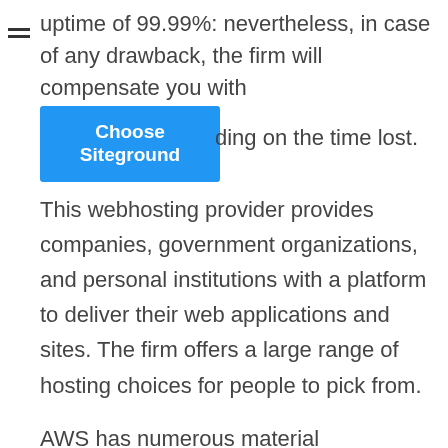uptime of 99.99%: nevertheless, in case of any drawback, the firm will compensate you with
[Figure (other): Blue button labeled 'Choose Siteground' overlapping text 'ding on the time lost.']
This webhosting provider provides companies, government organizations, and personal institutions with a platform to deliver their web applications and sites. The firm offers a large range of hosting choices for people to pick from.
AWS has numerous material management systems CMS to select from, such as Joomla, Drupal, and WordPress. It supports SKs for widely known servers such as Ruby, Java, PHP, and Node.js.